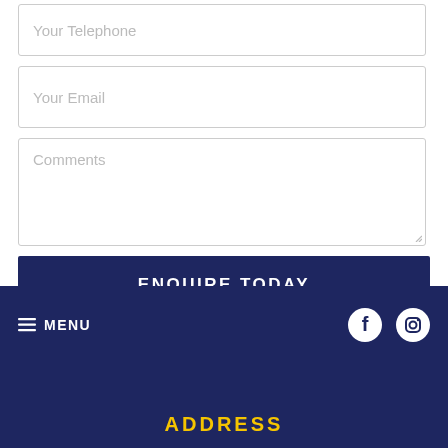[Figure (screenshot): Form input field with placeholder text 'Your Telephone' (partially visible at top)]
[Figure (screenshot): Form input field with placeholder text 'Your Email']
[Figure (screenshot): Form textarea with placeholder text 'Comments']
ENQUIRE TODAY
≡ MENU  [Facebook icon] [Instagram icon]  ADDRESS